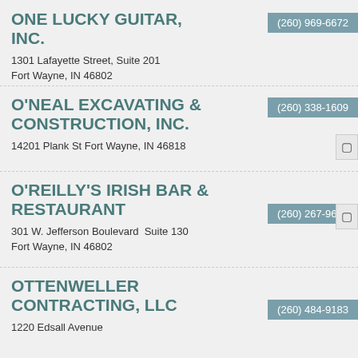ONE LUCKY GUITAR, INC.
1301 Lafayette Street, Suite 201
Fort Wayne, IN 46802
(260) 969-6672
O'NEAL EXCAVATING & CONSTRUCTION, INC.
14201 Plank St Fort Wayne, IN 46818
(260) 338-1609
O'REILLY'S IRISH BAR & RESTAURANT
301 W. Jefferson Boulevard  Suite 130
Fort Wayne, IN 46802
(260) 267-9679
OTTENWELLER CONTRACTING, LLC
1220 Edsall Avenue
(260) 484-9183